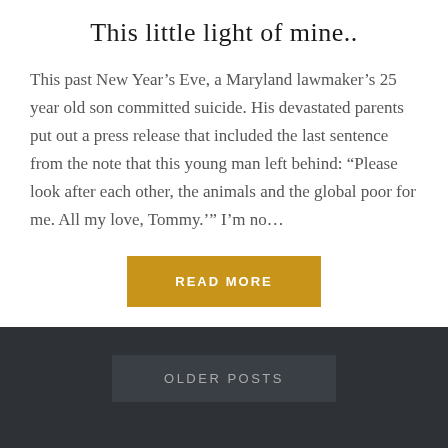This little light of mine..
This past New Year’s Eve, a Maryland lawmaker’s 25 year old son committed suicide. His devastated parents put out a press release that included the last sentence from the note that this young man left behind: “Please look after each other, the animals and the global poor for me. All my love, Tommy.’” I’m no…
READ MORE
OLDER POSTS